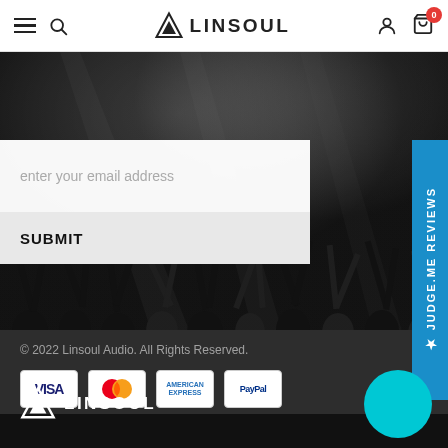LINSOUL — Navigation bar with menu, search, logo, user account, and cart (0 items)
[Figure (photo): Black and white concert crowd photo with hands raised in the air under stage lighting]
enter your email address
SUBMIT
[Figure (other): Blue vertical sidebar tab reading '★ JUDGE.ME REVIEWS']
© 2022 Linsoul Audio. All Rights Reserved.
[Figure (logo): Payment method icons: VISA, Mastercard, American Express, PayPal]
[Figure (logo): Linsoul logo in white on black background]
[Figure (other): Teal circular chat button in bottom right corner]